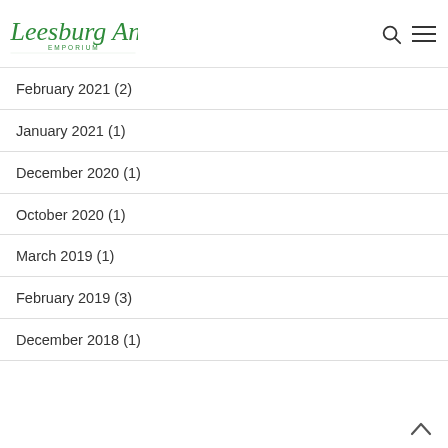Leesburg Antique Emporium
February 2021 (2)
January 2021 (1)
December 2020 (1)
October 2020 (1)
March 2019 (1)
February 2019 (3)
December 2018 (1)